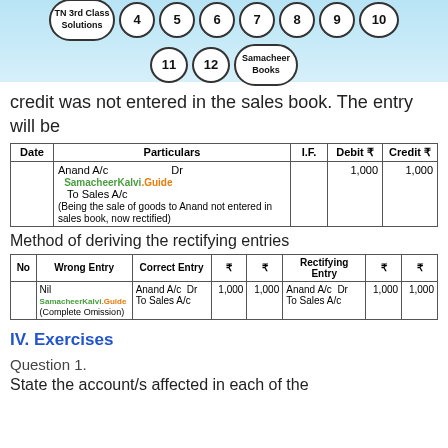[Figure (illustration): Navigation header banner with circled numbers 4-12 and TN 3rd Class Solutions logo, Samacheer Books circle]
credit was not entered in the sales book. The entry will be
| Date | Particulars | I.F. | Debit ₹ | Credit ₹ |
| --- | --- | --- | --- | --- |
|  | Anand A/c    Dr
  To Sales A/c
(Being the sale of goods to Anand not entered in sales book, now rectified) |  | 1,000 | 1,000 |
Method of deriving the rectifying entries
| No | Wrong Entry | Correct Entry | ₹ | ₹ | Rectifying Entry | ₹ | ₹ |
| --- | --- | --- | --- | --- | --- | --- | --- |
|  | Nil (Complete Omission) | Anand A/c  Dr
To Sales A/c | 1,000 | 1,000 | Anand A/c  Dr
To Sales A/c | 1,000 | 1,000 |
IV. Exercises
Question 1.
State the account/s affected in each of the